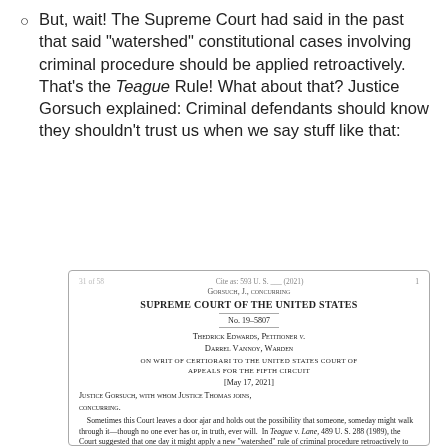But, wait! The Supreme Court had said in the past that said "watershed" constitutional cases involving criminal procedure should be applied retroactively. That's the Teague Rule! What about that? Justice Gorsuch explained: Criminal defendants should know they shouldn't trust us when we say stuff like that:
[Figure (screenshot): Scanned Supreme Court opinion page: Gorsuch, J., concurring. SUPREME COURT OF THE UNITED STATES. No. 19-5807. THEDRICK EDWARDS, PETITIONER v. DARREL VANNOY, WARDEN. ON WRIT OF CERTIORARI TO THE UNITED STATES COURT OF APPEALS FOR THE FIFTH CIRCUIT. [May 17, 2021]. JUSTICE GORSUCH, with whom JUSTICE THOMAS joins, concurring. Sometimes this Court leaves a door ajar and holds out the possibility that someone, someday might walk through it—though no one ever has or, in truth, ever will. In Teague v. Lane, 489 U.S. 288 (1989), the Court suggested that one day it might apply a new 'watershed' rule of criminal procedure retroactively to undo a final state court conviction.]